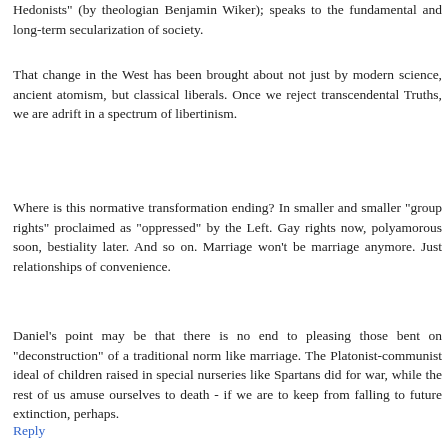Hedonists" (by theologian Benjamin Wiker); speaks to the fundamental and long-term secularization of society.
That change in the West has been brought about not just by modern science, ancient atomism, but classical liberals. Once we reject transcendental Truths, we are adrift in a spectrum of libertinism.
Where is this normative transformation ending? In smaller and smaller "group rights" proclaimed as "oppressed" by the Left. Gay rights now, polyamorous soon, bestiality later. And so on. Marriage won't be marriage anymore. Just relationships of convenience.
Daniel's point may be that there is no end to pleasing those bent on "deconstruction" of a traditional norm like marriage. The Platonist-communist ideal of children raised in special nurseries like Spartans did for war, while the rest of us amuse ourselves to death - if we are to keep from falling to future extinction, perhaps.
Reply